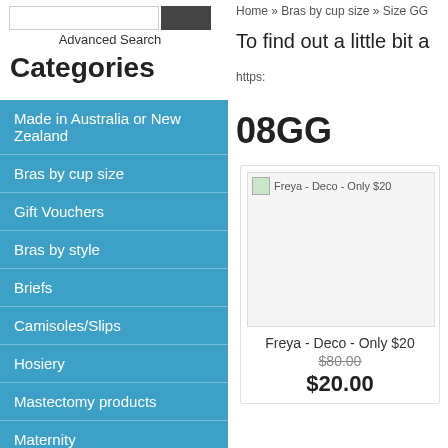Advanced Search
Categories
Made in Australia or New Zealand
Bras by cup size
Gift Vouchers
Bras by style
Briefs
Camisoles/Slips
Hosiery
Mastectomy products
Maternity
Shapewear
Sleepwear
Sportswear
Swimwear
Home » Bras by cup size » Size GG
To find out a little bit a...
https:
08GG
[Figure (photo): Product image placeholder for Freya - Deco - Only $20]
Freya - Deco - Only $20
$80.00
$20.00